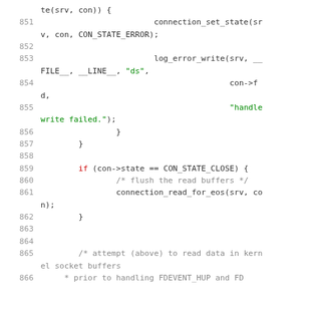[Figure (other): Source code listing lines 851-866 showing C code for connection state handling with error logging and buffer flushing]